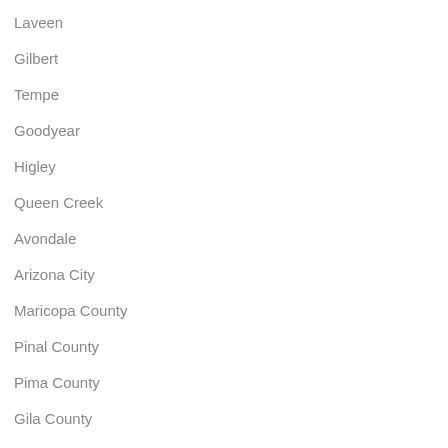Laveen
Gilbert
Tempe
Goodyear
Higley
Queen Creek
Avondale
Arizona City
Maricopa County
Pinal County
Pima County
Gila County